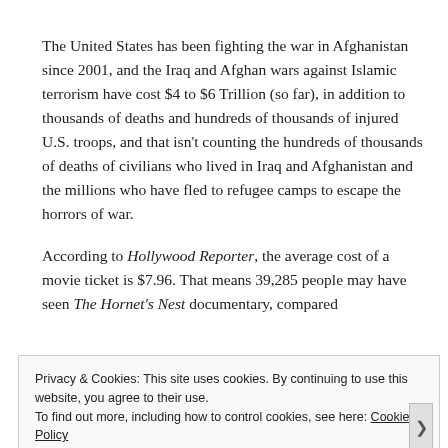The United States has been fighting the war in Afghanistan since 2001, and the Iraq and Afghan wars against Islamic terrorism have cost $4 to $6 Trillion (so far), in addition to thousands of deaths and hundreds of thousands of injured U.S. troops, and that isn't counting the hundreds of thousands of deaths of civilians who lived in Iraq and Afghanistan and the millions who have fled to refugee camps to escape the horrors of war.
According to Hollywood Reporter, the average cost of a movie ticket is $7.96. That means 39,285 people may have seen The Hornet's Nest documentary, compared
Privacy & Cookies: This site uses cookies. By continuing to use this website, you agree to their use.
To find out more, including how to control cookies, see here: Cookie Policy
Close and accept